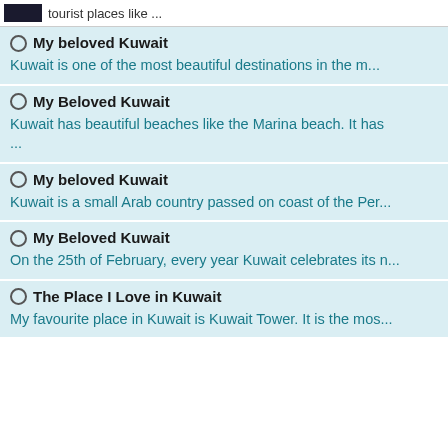tourist places like ...
My beloved Kuwait
Kuwait is one of the most beautiful destinations in the m...
My Beloved Kuwait
Kuwait has beautiful beaches like the Marina beach. It has ...
My beloved Kuwait
Kuwait is a small Arab country passed on coast of the Per...
My Beloved Kuwait
On the 25th of February, every year Kuwait celebrates its n...
The Place I Love in Kuwait
My favourite place in Kuwait is Kuwait Tower. It is the mos...